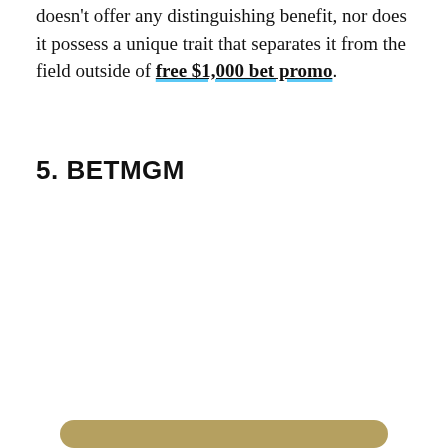doesn't offer any distinguishing benefit, nor does it possess a unique trait that separates it from the field outside of free $1,000 bet promo.
5. BetMGM
[Figure (logo): BetMGM logo on a gold/tan card background. Black circle with lion icon and BETMGM text. Large white BetMGM text below. States listed: NY, AZ, CO, IN, IA, MI, NV, NJ, PA, TN, WV, VA. GET THE APP button at bottom.]